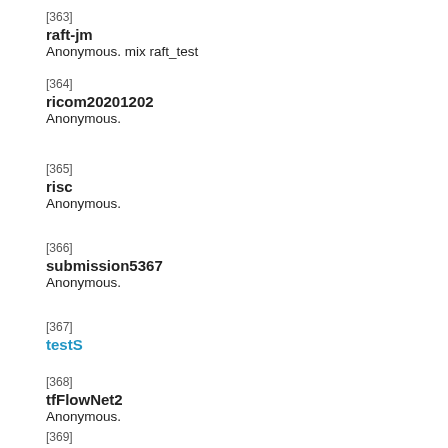[363]
raft-jm
Anonymous. mix raft_test
[364]
ricom20201202
Anonymous.
[365]
risc
Anonymous.
[366]
submission5367
Anonymous.
[367]
testS
[368]
tfFlowNet2
Anonymous.
[369]
tfFlowNet2+GLR